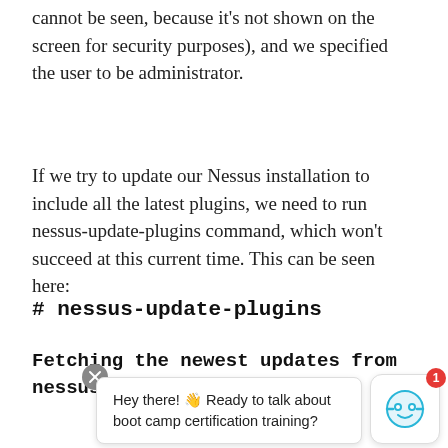cannot be seen, because it's not shown on the screen for security purposes), and we specified the user to be administrator.
If we try to update our Nessus installation to include all the latest plugins, we need to run nessus-update-plugins command, which won't succeed at this current time. This can be seen here:
# nessus-update-plugins
Fetching the newest updates from nessus.org.